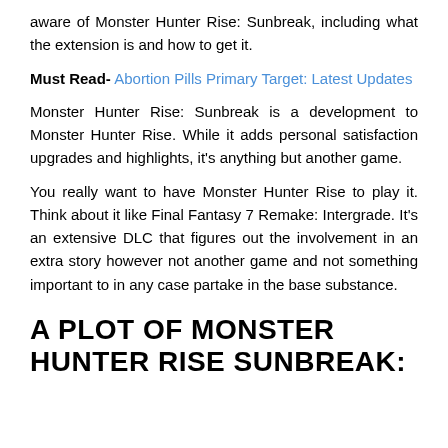aware of Monster Hunter Rise: Sunbreak, including what the extension is and how to get it.
Must Read- Abortion Pills Primary Target: Latest Updates
Monster Hunter Rise: Sunbreak is a development to Monster Hunter Rise. While it adds personal satisfaction upgrades and highlights, it's anything but another game.
You really want to have Monster Hunter Rise to play it. Think about it like Final Fantasy 7 Remake: Intergrade. It's an extensive DLC that figures out the involvement in an extra story however not another game and not something important to in any case partake in the base substance.
A PLOT OF MONSTER HUNTER RISE SUNBREAK: